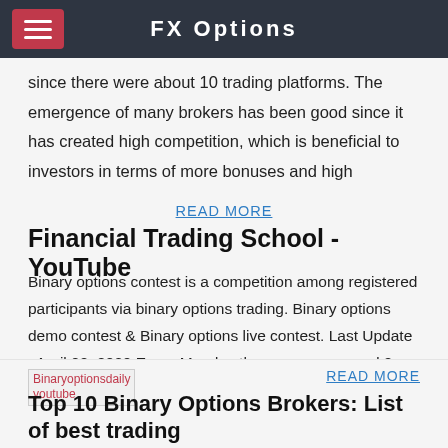FX Options
since there were about 10 trading platforms. The emergence of many brokers has been good since it has created high competition, which is beneficial to investors in terms of more bonuses and high
READ MORE
Financial Trading School - YouTube
Binary options contest is a competition among registered participants via binary options trading. Binary options demo contest & Binary options live contest. Last Update : April 02, 2020 Every Monday the company reward 2 YouTube bloggers for their video. Simply, upload a video of [...]
READ MORE
[Figure (photo): Thumbnail image labeled Binaryoptionsdaily youtube]
Top 10 Binary Options Brokers: List of best trading